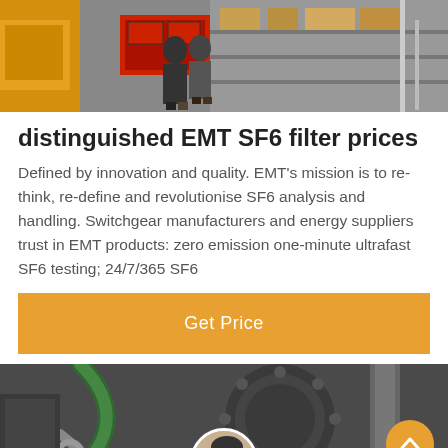[Figure (photo): Top banner photo showing industrial/warehouse scene with yellow equipment and people in background]
distinguished EMT SF6 filter prices
Defined by innovation and quality. EMT's mission is to re-think, re-define and revolutionise SF6 analysis and handling. Switchgear manufacturers and energy suppliers trust in EMT products: zero emission one-minute ultrafast SF6 testing; 24/7/365 SF6
[Figure (other): Get Price button - orange/amber colored call-to-action button with white text]
[Figure (photo): Bottom photo showing industrial SF6 equipment close-up, dark metallic machinery with cables]
Leave Message
Chat Online